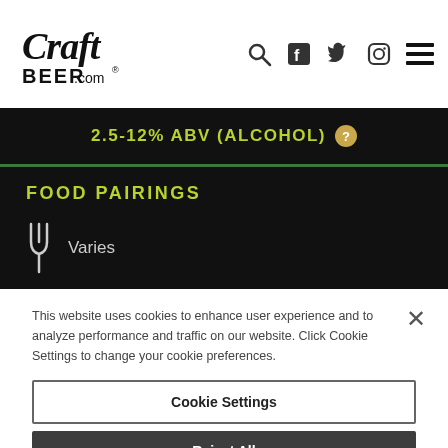CraftBeer.com header with logo and navigation icons
2.5-12% ABV (ALCOHOL) ?
FOOD PAIRINGS
Varies
This website uses cookies to enhance user experience and to analyze performance and traffic on our website. Click Cookie Settings to change your cookie preferences.
Cookie Settings
Reject All
Accept All Cookies